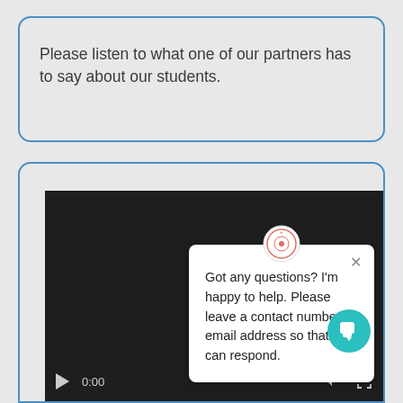Please listen to what one of our partners has to say about our students.
[Figure (screenshot): A video player with dark background showing 0:00 timestamp, play button, volume icon, and a chat popup overlay with a school logo, close button, and text: 'Got any questions? I'm happy to help. Please leave a contact number or email address so that we can respond.' A teal chat widget button is visible in the bottom right.]
Got any questions? I'm happy to help. Please leave a contact number or email address so that we can respond.